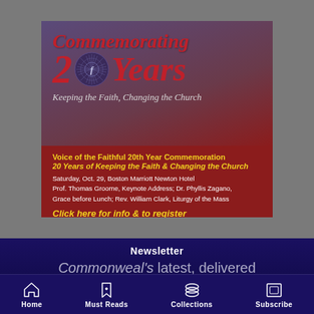[Figure (infographic): Voice of the Faithful 20th Year Commemoration advertisement. Dark purple-to-red gradient top section with large italic red text 'Commemorating', '20 Years' with circular emblem, subtitle 'Keeping the Faith, Changing the Church'. Red bottom section with yellow and white text details about Saturday Oct. 29 event at Boston Marriott Newton Hotel, featuring Prof. Thomas Groome keynote, Dr. Phyllis Zagano, Rev. William Clark. Yellow italic call to action 'Click here for info & to register'.]
Newsletter
Commonweal's latest, delivered twice weekly
Home | Must Reads | Collections | Subscribe